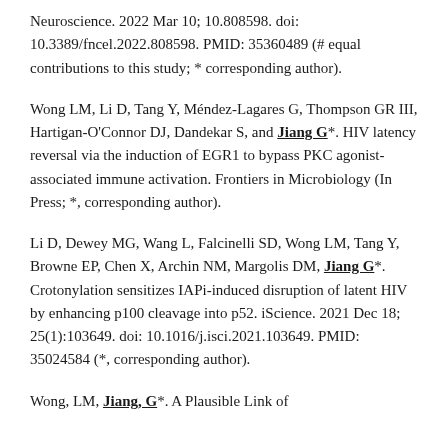Neuroscience. 2022 Mar 10; 10.808598. doi: 10.3389/fncel.2022.808598. PMID: 35360489 (# equal contributions to this study; * corresponding author).
Wong LM, Li D, Tang Y, Méndez-Lagares G, Thompson GR III, Hartigan-O'Connor DJ, Dandekar S, and Jiang G*. HIV latency reversal via the induction of EGR1 to bypass PKC agonist-associated immune activation. Frontiers in Microbiology (In Press; *, corresponding author).
Li D, Dewey MG, Wang L, Falcinelli SD, Wong LM, Tang Y, Browne EP, Chen X, Archin NM, Margolis DM, Jiang G*. Crotonylation sensitizes IAPi-induced disruption of latent HIV by enhancing p100 cleavage into p52. iScience. 2021 Dec 18; 25(1):103649. doi: 10.1016/j.isci.2021.103649. PMID: 35024584 (*, corresponding author).
Wong, LM, Jiang, G*. A Plausible Link of